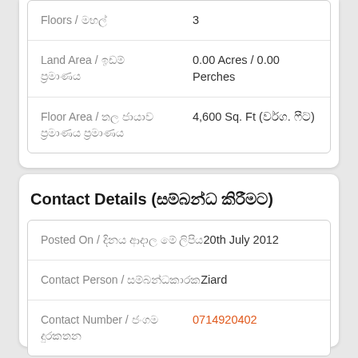| Floors / මහල් | 3 |
| Land Area / ඉඩම් ප්‍රමාණය | 0.00 Acres / 0.00 Perches |
| Floor Area / තල ජායාව ප්‍රමාණය | 4,600 Sq. Ft (වර්ග. ෆීට්) |
Contact Details (සම්බන්ධ කිරීමට)
| Posted On / දිනය ආදාල මේ ලිපිය | 20th July 2012 |
| Contact Person / සම්බන්ධකාරක | Ziard |
| Contact Number / ජංගම දුරකතන | 0714920402 |